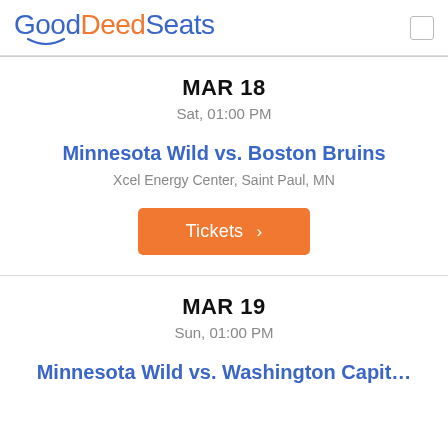GoodDeedSeats
MAR 18
Sat, 01:00 PM
Minnesota Wild vs. Boston Bruins
Xcel Energy Center, Saint Paul, MN
Tickets >
MAR 19
Sun, 01:00 PM
Minnesota Wild vs. Washington Capit…